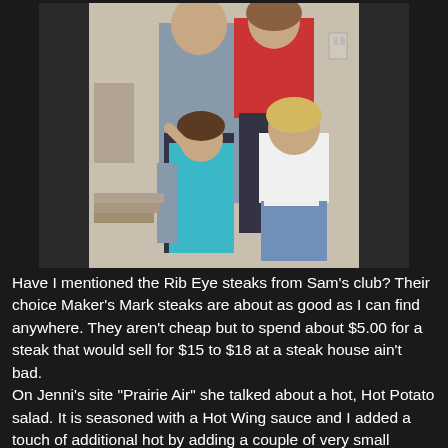[Figure (photo): Family photo showing two adults and two children indoors. A man and woman stand in the back, with two young girls in front. The younger girl wears a teal/blue dress, the older girl wears a white shirt and jeans. The woman wears a red top.]
Have I mentioned the Rib Eye steaks from Sam's club? Their choice Maker's Mark steaks are about as good as I can find anywhere. They aren't cheap but to spend about $5.00 for a steak that would sell for $15 to $18 at a steak house ain't bad.
On Jenni's site "Prairie Air" she talked about a hot, Hot Potato salad. It is seasoned with a Hot Wing sauce and I added a touch of additional hot by adding a couple of very small Jalapenos from the garden. I didn't listen to my inner